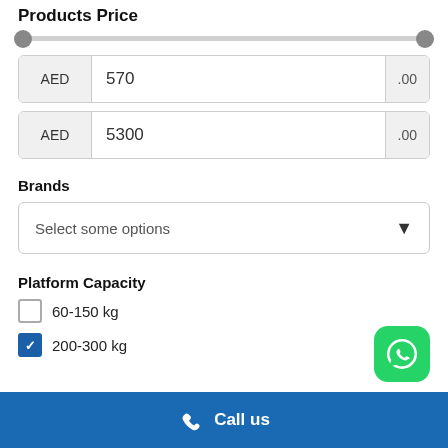Products Price
[Figure (other): A range slider with two grey circular handles at the far left and far right ends of a light grey track, representing a price range filter.]
AED  570  .00
AED  5300  .00
Brands
Select some options
Platform Capacity
60-150 kg
200-300 kg
[Figure (logo): WhatsApp logo button — green rounded square with white phone/chat icon]
Call us